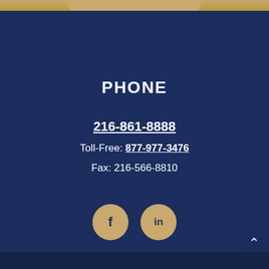PHONE
216-861-8888
Toll-Free: 877-977-3476
Fax: 216-566-8810
[Figure (illustration): Facebook and LinkedIn social media icons as gold circles with dark letters f and in]